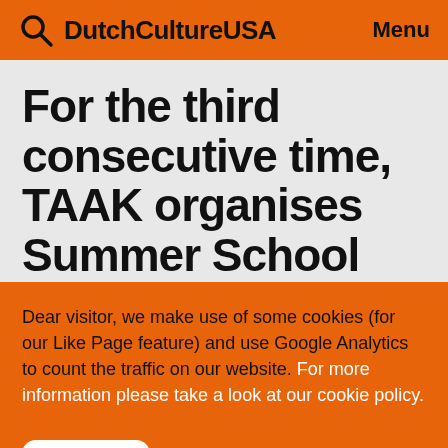DutchCultureUSA   Menu
For the third consecutive time, TAAK organises Summer School Marfa
Dear visitor, we make use of some cookies (for our Like Page feature) and use Google Analytics to count the traffic on our website. For more information please take a look at our cookie policy.
Close